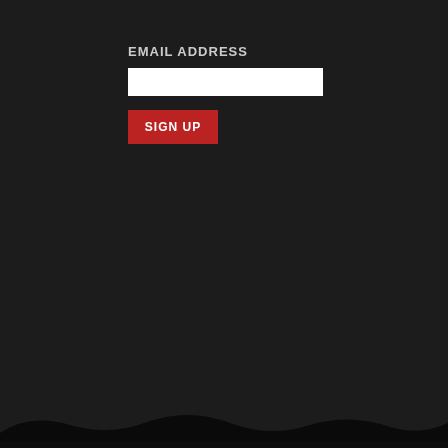EMAIL ADDRESS
[Figure (other): Email address input field (white rectangle)]
SIGN UP
[Figure (photo): Album cover art for Slaughter - Strappado, green jungle/foliage themed]
SLAUGHTER
Strappado
War On Music
[Figure (photo): Album cover art for Necrophobic - Spawned By Evil, black background with white pentagram/goat skull symbol]
NECROPHOB
Spawned By ...
Hammerhead
[Figure (photo): Album cover art for Manilla Road - Crystal Logic, desert/fantasy scene with tank-like vehicle and rocky landscape]
MANILLA RO
Crystal Logic
High Roller R